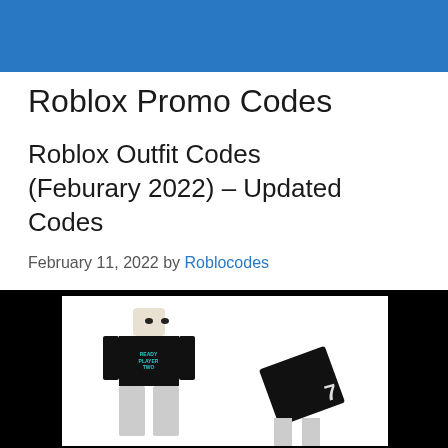Roblox Promo Codes
Roblox Promo Codes
Roblox Outfit Codes (Feburary 2022) – Updated Codes
February 11, 2022 by Roblocodes
[Figure (photo): Roblox character wearing a black 'Ready Player Two' shirt on the left, and a Roblox book/accessory item with the number 7 on the right, both on a black background with white center panel]